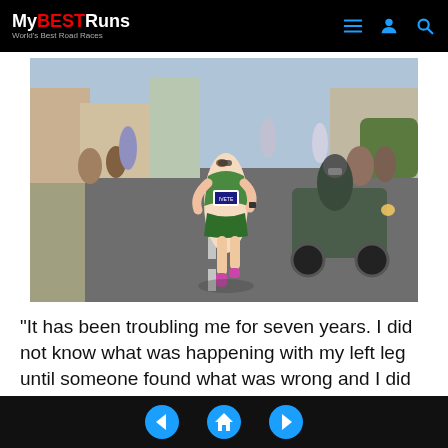MyBESTRuns – World's Best Road Races
[Figure (photo): Female marathon runner in green singlet and shorts running on a road course, with a motorcycle escort behind her and other runners in the background. She wears pink shoes and sunglasses.]
“It has been troubling me for seven years. I did not know what was happening with my left leg until someone found what was wrong and I did the operation.”
Navigation: previous, home, next